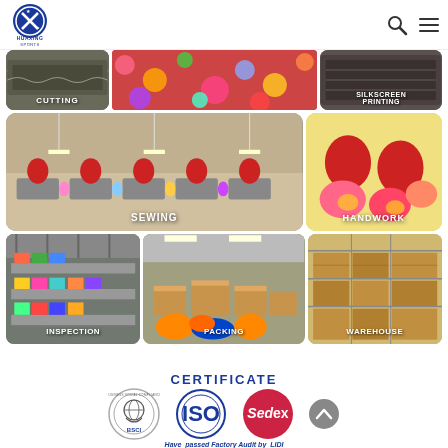Huaxing Sports
[Figure (photo): Factory process photos grid showing: Cutting, Silkscreen Printing (top row), Sewing (large left), Handwork (right), Inspection, Packing, Warehouse (bottom row)]
CERTIFICATE
[Figure (photo): Three certification logos: BSCI (Business Social Compliance Initiative), ISO, and Sedex]
Have passed Factory Audit by LIDI
For more details, please feel free to reach out to us.